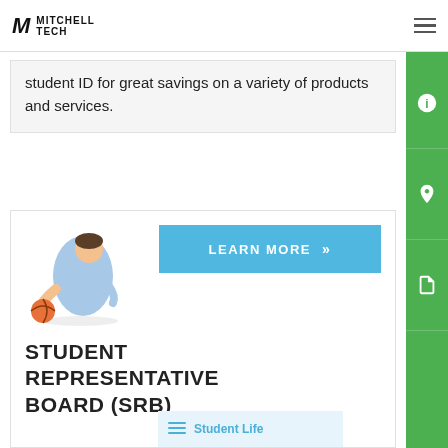Mitchell Tech
student ID for great savings on a variety of products and services.
[Figure (photo): Person holding a basketball, leaning forward in a dynamic pose]
STUDENT REPRESENTATIVE BOARD (SRB)
Student Rep Board belongs to you, Mitchell Tech students! At their regular meetings these dedicated student leaders discuss